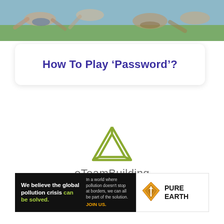[Figure (photo): Photo of people relaxing outdoors on grass, viewed from above]
How To Play ‘Password’?
[Figure (logo): eTeamBuilding logo: olive-green impossible triangle outline above the text 'eTeamBuilding' in grey]
[Figure (infographic): Pure Earth advertisement banner: black left side with text 'We believe the global pollution crisis can be solved.' and right panel with Pure Earth diamond logo]